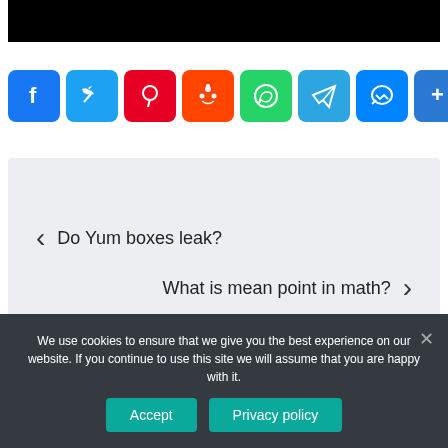[Figure (screenshot): Black image bar at top]
[Figure (infographic): Row of social media share buttons: Facebook, Twitter, Pinterest, Reddit, WhatsApp, Telegram, Messenger, More]
[Figure (infographic): Navigation box with previous link 'Do Yum boxes leak?' and next link 'What is mean point in math?']
We use cookies to ensure that we give you the best experience on our website. If you continue to use this site we will assume that you are happy with it.
Accept  Privacy policy